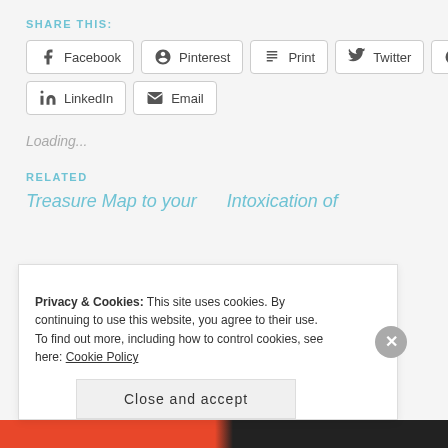SHARE THIS:
Facebook
Pinterest
Print
Twitter
Reddit
LinkedIn
Email
Loading...
RELATED
Treasure Map to your
Intoxication of
Privacy & Cookies: This site uses cookies. By continuing to use this website, you agree to their use. To find out more, including how to control cookies, see here: Cookie Policy
Close and accept